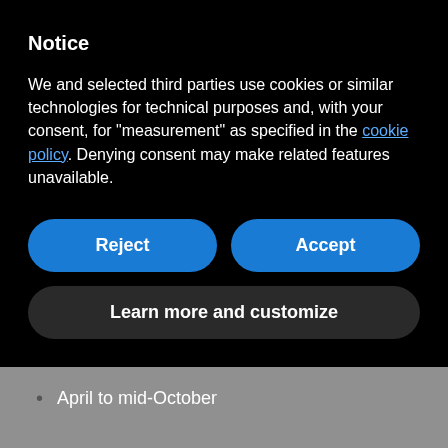Notice
We and selected third parties use cookies or similar technologies for technical purposes and, with your consent, for “measurement” as specified in the cookie policy. Denying consent may make related features unavailable.
Reject
Accept
Learn more and customize
April to mid-October
Via Monastero - Pantelleria (TP) - Italia
www.sikeliapantelleria.com/en/